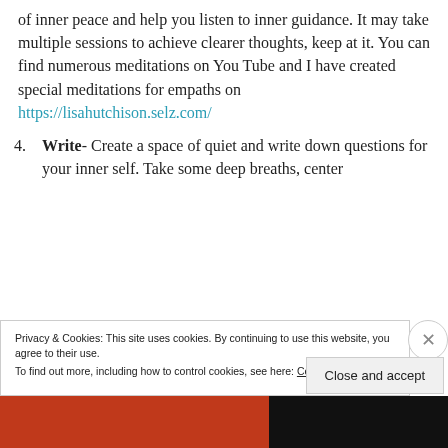of inner peace and help you listen to inner guidance. It may take multiple sessions to achieve clearer thoughts, keep at it. You can find numerous meditations on You Tube and I have created special meditations for empaths on https://lisahutchison.selz.com/
4. Write- Create a space of quiet and write down questions for your inner self. Take some deep breaths, center
Privacy & Cookies: This site uses cookies. By continuing to use this website, you agree to their use.
To find out more, including how to control cookies, see here: Cookie Policy
Close and accept